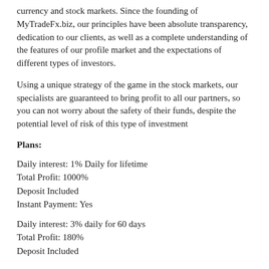currency and stock markets. Since the founding of MyTradeFx.biz, our principles have been absolute transparency, dedication to our clients, as well as a complete understanding of the features of our profile market and the expectations of different types of investors.
Using a unique strategy of the game in the stock markets, our specialists are guaranteed to bring profit to all our partners, so you can not worry about the safety of their funds, despite the potential level of risk of this type of investment
Plans:
Daily interest: 1% Daily for lifetime
Total Profit: 1000%
Deposit Included
Instant Payment: Yes
Daily interest: 3% daily for 60 days
Total Profit: 180%
Deposit Included